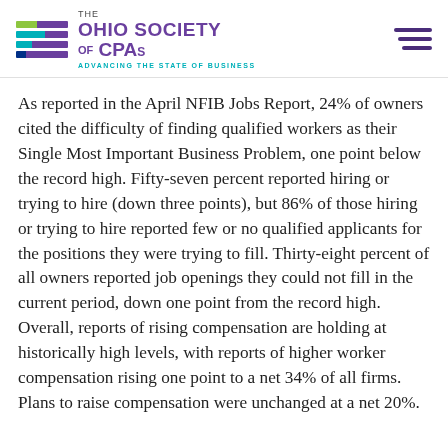THE OHIO SOCIETY OF CPAs — ADVANCING THE STATE OF BUSINESS
As reported in the April NFIB Jobs Report, 24% of owners cited the difficulty of finding qualified workers as their Single Most Important Business Problem, one point below the record high. Fifty-seven percent reported hiring or trying to hire (down three points), but 86% of those hiring or trying to hire reported few or no qualified applicants for the positions they were trying to fill. Thirty-eight percent of all owners reported job openings they could not fill in the current period, down one point from the record high. Overall, reports of rising compensation are holding at historically high levels, with reports of higher worker compensation rising one point to a net 34% of all firms. Plans to raise compensation were unchanged at a net 20%.